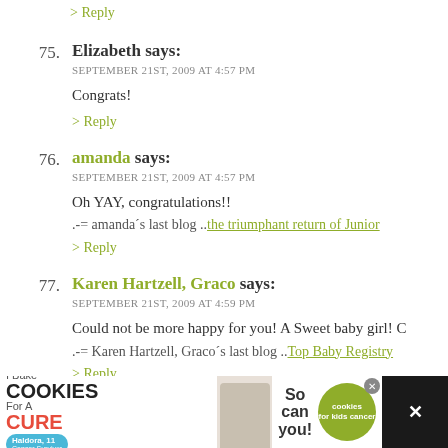> Reply (top, comment 74 reply link)
75. Elizabeth says: SEPTEMBER 21ST, 2009 AT 4:57 PM — Congrats!
> Reply
76. amanda says: SEPTEMBER 21ST, 2009 AT 4:57 PM — Oh YAY, congratulations!! .-= amanda's last blog ..the triumphant return of Junior
> Reply
77. Karen Hartzell, Graco says: SEPTEMBER 21ST, 2009 AT 4:59 PM — Could not be more happy for you! A Sweet baby girl! C .-= Karen Hartzell, Graco's last blog ..Top Baby Registry
> Reply (partial)
[Figure (infographic): Advertisement banner: I Bake COOKIES For A CURE with photo of girl and 'So can you!' text and cookies for kids cancer logo]